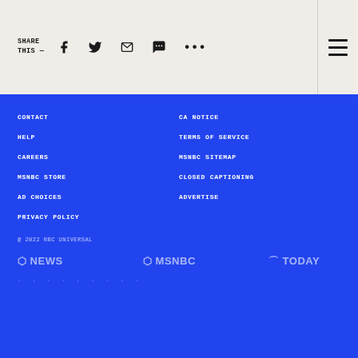SHARE THIS —
CONTACT
CA NOTICE
HELP
TERMS OF SERVICE
CAREERS
MSNBC SITEMAP
MSNBC STORE
CLOSED CAPTIONING
AD CHOICES
ADVERTISE
PRIVACY POLICY
@ 2022 NBC UNIVERSAL
[Figure (logo): NBC News, MSNBC, and TODAY network logos in white]
. . . . . . . . .